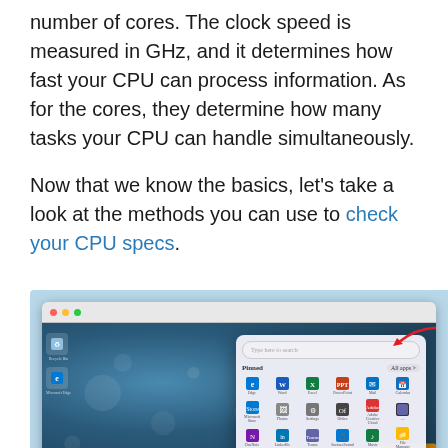number of cores. The clock speed is measured in GHz, and it determines how fast your CPU can process information. As for the cores, they determine how many tasks your CPU can handle simultaneously.
Now that we know the basics, let's take a look at the methods you can use to check your CPU specs.
[Figure (screenshot): Screenshot of a Windows 11 desktop showing the Start menu open with a search bar (red arrow pointing to search field), pinned apps including Edge, Word, Excel, PowerPoint, Mail, Calendar, Microsoft Store, Photos, Settings, Office, Adobe Creative Cloud, OneNote, LinkedIn, Teams, SurfaceSound, Music, File Manager, and a Recommended section with recently opened files.]